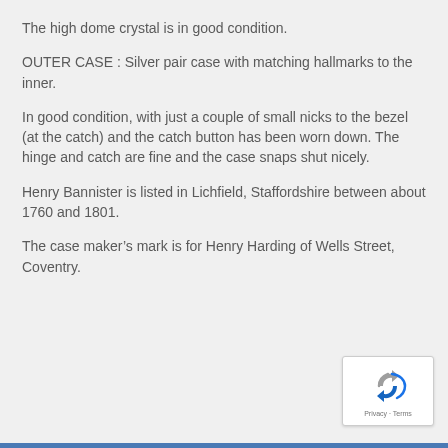The high dome crystal is in good condition.
OUTER CASE : Silver pair case with matching hallmarks to the inner.
In good condition, with just a couple of small nicks to the bezel (at the catch) and the catch button has been worn down. The hinge and catch are fine and the case snaps shut nicely.
Henry Bannister is listed in Lichfield, Staffordshire between about 1760 and 1801.
The case maker’s mark is for Henry Harding of Wells Street, Coventry.
[Figure (logo): reCAPTCHA logo with recycling-arrow icon, and 'Privacy - Terms' text below]